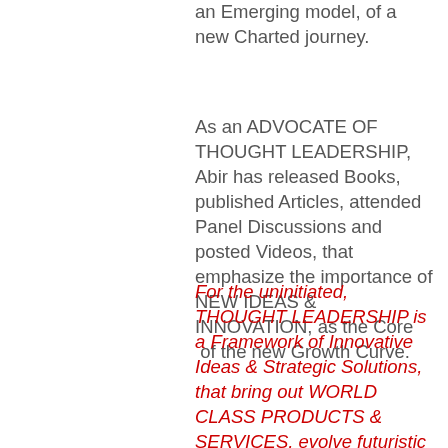an Emerging model, of a new Charted journey.
As an ADVOCATE OF THOUGHT LEADERSHIP, Abir has released Books, published Articles, attended Panel Discussions and posted Videos, that emphasize the importance of NEW IDEAS & INNOVATION, as the Core of the new Growth Curve.
For the uninitiated, THOUGHT LEADERSHIP is a Framework of Innovative Ideas & Strategic Solutions, that bring out WORLD CLASS PRODUCTS & SERVICES, evolve futuristic Business Models, create Customer Ecstasy, generate BEST PRACTICES and build LONG LASTING